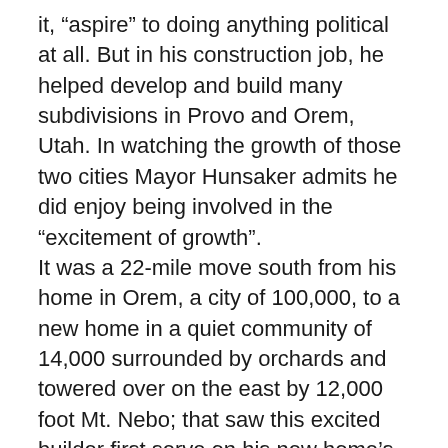it, “aspire” to doing anything political at all. But in his construction job, he helped develop and build many subdivisions in Provo and Orem, Utah. In watching the growth of those two cities Mayor Hunsaker admits he did enjoy being involved in the “excitement of growth”. It was a 22-mile move south from his home in Orem, a city of 100,000, to a new home in a quiet community of 14,000 surrounded by orchards and towered over on the east by 12,000 foot Mt. Nebo; that saw this excited builder first serve on his new home’s city council to running unopposed twice in becoming the mayor of Santaquin, Utah. The excitement of growth with new subdivisions pushing up against the